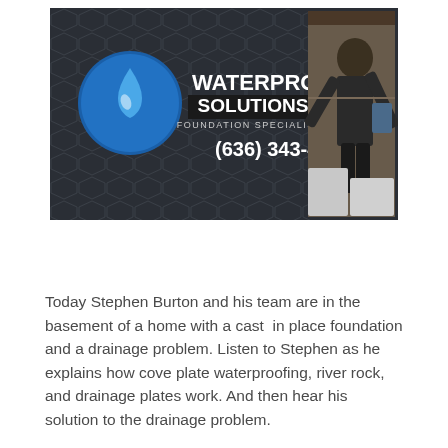[Figure (illustration): Waterproof Solutions Foundation Specialists advertisement banner. Dark background with hexagonal pattern. Left side shows a blue circle logo with a water droplet, bold text 'WATERPROOF SOLUTIONS' with 'FOUNDATION SPECIALISTS' underneath and phone number '(636) 343-4379'. Right side shows a photo of a man in a basement near equipment.]
Today Stephen Burton and his team are in the basement of a home with a cast in place foundation and a drainage problem. Listen to Stephen as he explains how cove plate waterproofing, river rock, and drainage plates work. And then hear his solution to the drainage problem.